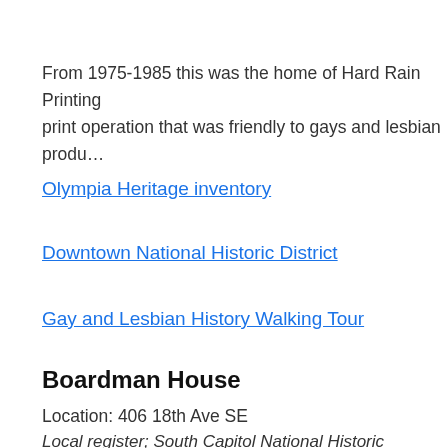From 1975-1985 this was the home of Hard Rain Printing print operation that was friendly to gays and lesbian produ…
Olympia Heritage inventory
Downtown National Historic District
Gay and Lesbian History Walking Tour
Boardman House
Location: 406 18th Ave SE
Local register; South Capitol National Historic Neighborho…